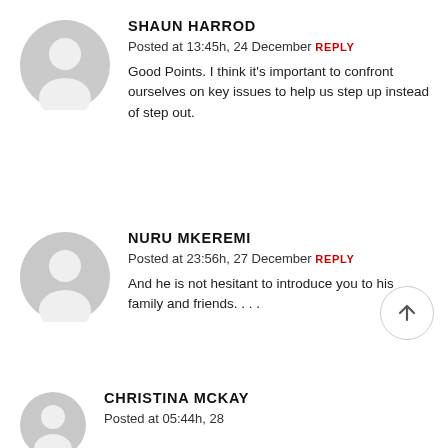[Figure (illustration): Gray default user avatar circle icon for Shaun Harrod]
SHAUN HARROD
Posted at 13:45h, 24 December REPLY
Good Points. I think it's important to confront ourselves on key issues to help us step up instead of step out.
[Figure (illustration): Gray default user avatar circle icon for Nuru Mkeremi]
NURU MKEREMI
Posted at 23:56h, 27 December REPLY
And he is not hesitant to introduce you to his family and friends. . . .
[Figure (illustration): Gray default user avatar circle icon for Christina McKay]
CHRISTINA MCKAY
Posted at 05:44h, 28